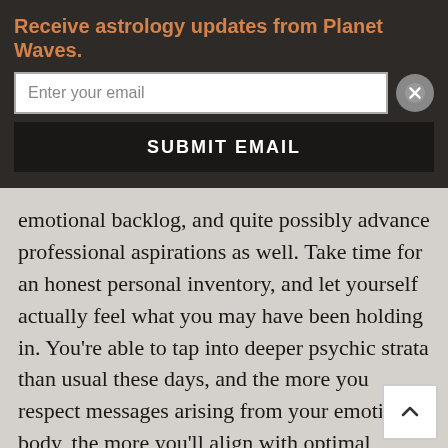Receive astrology updates from Planet Waves.
Enter your email
SUBMIT EMAIL
emotional backlog, and quite possibly advance professional aspirations as well. Take time for an honest personal inventory, and let yourself actually feel what you may have been holding in. You're able to tap into deeper psychic strata than usual these days, and the more you respect messages arising from your emotional body, the more you'll align with optimal trajectories. Channels are wide open for communications with those in a position to assist, perhaps regarding resources to help further your ambitions. Keep your inner ears open and your dream memory on.